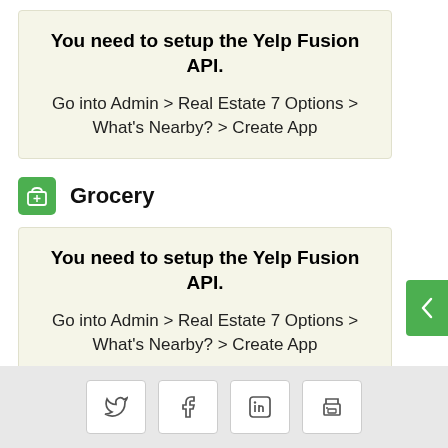You need to setup the Yelp Fusion API.

Go into Admin > Real Estate 7 Options > What's Nearby? > Create App
Grocery
You need to setup the Yelp Fusion API.

Go into Admin > Real Estate 7 Options > What's Nearby? > Create App
Education
You need to setup the Yelp Fu...
Social share buttons: Twitter, Facebook, LinkedIn, Print